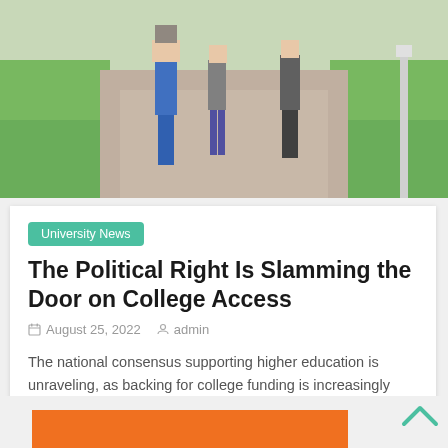[Figure (photo): Students walking on a campus pathway with green grass on either side, viewed from behind]
University News
The Political Right Is Slamming the Door on College Access
August 25, 2022   admin
The national consensus supporting higher education is unraveling, as backing for college funding is increasingly becoming a partisan issue. And
Read more